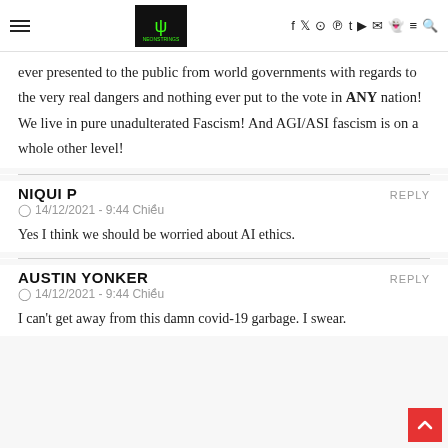[Navigation bar with hamburger menu, logo, social icons]
ever presented to the public from world governments with regards to the very real dangers and nothing ever put to the vote in ANY nation! We live in pure unadulterated Fascism! And AGI/ASI fascism is on a whole other level!
NIQUI P
REPLY
14/12/2021 - 9:44 Chiều
Yes I think we should be worried about AI ethics.
AUSTIN YONKER
REPLY
14/12/2021 - 9:44 Chiều
I can't get away from this damn covid-19 garbage. I swear.